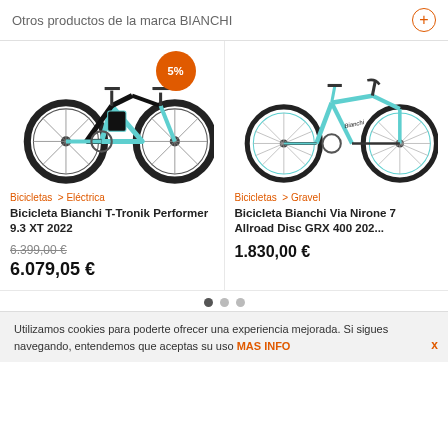Otros productos de la marca BIANCHI
[Figure (photo): Bianchi T-Tronik electric mountain bike in black and turquoise with 5% discount badge]
[Figure (photo): Bianchi Via Nirone 7 Allroad Disc GRX road/gravel bike in turquoise]
Bicicletas > Eléctrica
Bicicleta Bianchi T-Tronik Performer 9.3 XT 2022
6.399,00 €
6.079,05 €
Bicicletas > Gravel
Bicicleta Bianchi Via Nirone 7 Allroad Disc GRX 400 202...
1.830,00 €
Utilizamos cookies para poderte ofrecer una experiencia mejorada. Si sigues navegando, entendemos que aceptas su uso MAS INFO